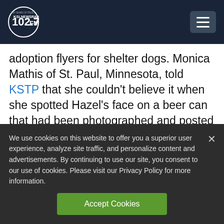KSL NewsRadio 102.7FM
adoption flyers for shelter dogs. Monica Mathis of St. Paul, Minnesota, told KSTP that she couldn't believe it when she spotted Hazel's face on a beer can that had been photographed and posted on social media.
Hazel, a terrier mix, was among the dogs
We use cookies on this website to offer you a superior user experience, analyze site traffic, and personalize content and advertisements. By continuing to use our site, you consent to our use of cookies. Please visit our Privacy Policy for more information.
Accept Cookies